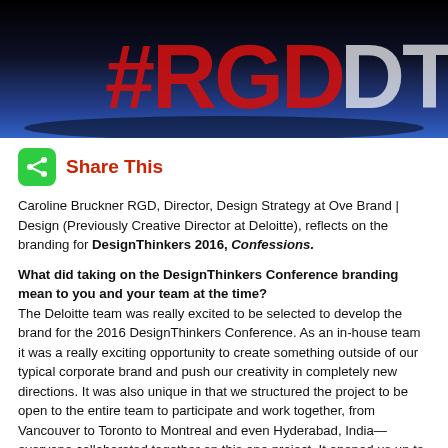[Figure (photo): Dark stage photo with large red and white #RGBDT lettering on a blue-lit background]
Share This
Caroline Bruckner RGD, Director, Design Strategy at Ove Brand | Design (Previously Creative Director at Deloitte), reflects on the branding for DesignThinkers 2016, Confessions.
What did taking on the DesignThinkers Conference branding mean to you and your team at the time?
The Deloitte team was really excited to be selected to develop the brand for the 2016 DesignThinkers Conference. As an in-house team it was a really exciting opportunity to create something outside of our typical corporate brand and push our creativity in completely new directions. It was also unique in that we structured the project to be open to the entire team to participate and work together, from Vancouver to Toronto to Montreal and even Hyderabad, India—everyone collaborated together on this one project. It opened us up to collaborating and working in new ways and broke down some of the barriers of distance. It let the designers see one